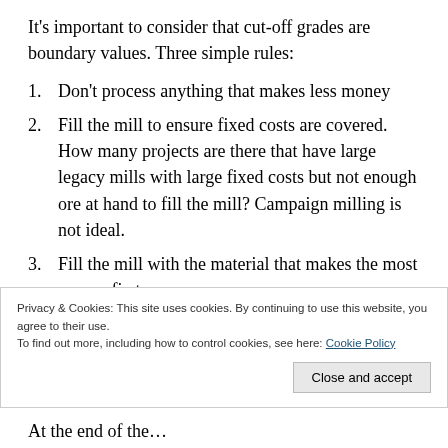It's important to consider that cut-off grades are boundary values. Three simple rules:
Don't process anything that makes less money
Fill the mill to ensure fixed costs are covered. How many projects are there that have large legacy mills with large fixed costs but not enough ore at hand to fill the mill? Campaign milling is not ideal.
Fill the mill with the material that makes the most money first.
Privacy & Cookies: This site uses cookies. By continuing to use this website, you agree to their use.
To find out more, including how to control cookies, see here: Cookie Policy
At the end of the…